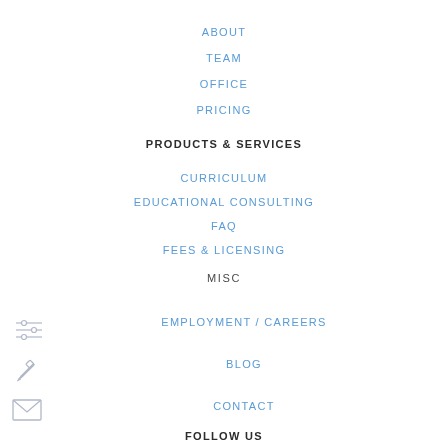ABOUT
TEAM
OFFICE
PRICING
PRODUCTS & SERVICES
CURRICULUM
EDUCATIONAL CONSULTING
FAQ
FEES & LICENSING
MISC
EMPLOYMENT / CAREERS
BLOG
CONTACT
FOLLOW US